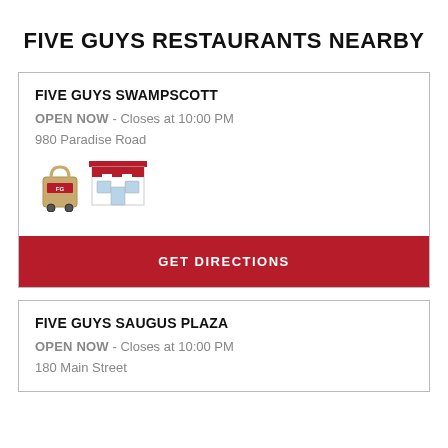FIVE GUYS RESTAURANTS NEARBY
FIVE GUYS SWAMPSCOTT
OPEN NOW - Closes at 10:00 PM
980 Paradise Road
[Figure (illustration): Delivery bag icon and restaurant storefront icon]
GET DIRECTIONS
FIVE GUYS SAUGUS PLAZA
OPEN NOW - Closes at 10:00 PM
180 Main Street